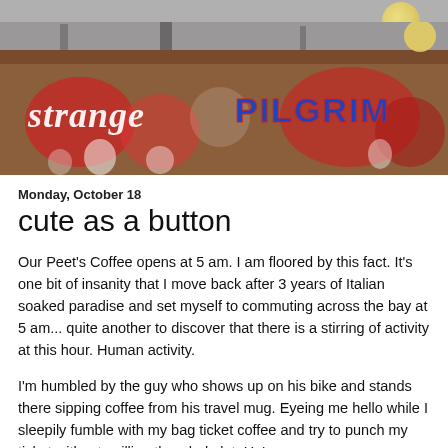[Figure (photo): Graffiti wall photo showing colorful street art with the text 'strange' in white cursive on the left and 'PILGRIM' in blue and red block letters on the right, with red and white painted figures/faces below. The wall is concrete/stone with a building structure visible above. A moon or light is visible in the upper right corner against a grey sky.]
Monday, October 18
cute as a button
Our Peet's Coffee opens at 5 am. I am floored by this fact. It's one bit of insanity that I move back after 3 years of Italian soaked paradise and set myself to commuting across the bay at 5 am... quite another to discover that there is a stirring of activity at this hour. Human activity.
I'm humbled by the guy who shows up on his bike and stands there sipping coffee from his travel mug. Eyeing me hello while I sleepily fumble with my bag ticket coffee and try to punch my ticket without spilling the whole lot. He's